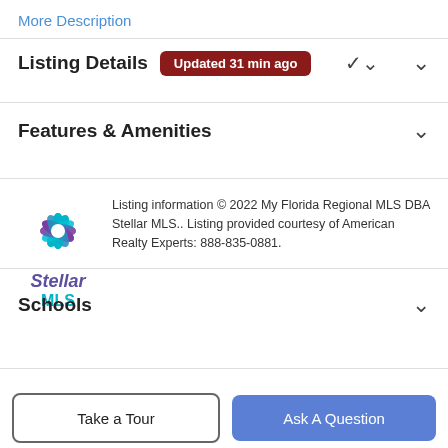More Description
Listing Details Updated 31 min ago
Features & Amenities
Listing information © 2022 My Florida Regional MLS DBA Stellar MLS.. Listing provided courtesy of American Realty Experts: 888-835-0881.
Schools
Payment Calculator
Contact Agent
Take a Tour
Ask A Question